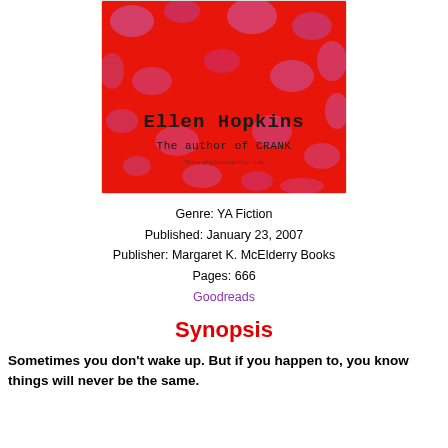[Figure (illustration): Book cover for a novel by Ellen Hopkins. Bright red textured background with purple/pink splotches. Text reads 'Ellen Hopkins' and 'The author of CRANK' in typewriter-style font.]
Genre: YA Fiction
Published: January 23, 2007
Publisher: Margaret K. McElderry Books
Pages: 666
Goodreads
Synopsis
Sometimes you don't wake up. But if you happen to, you know things will never be the same.